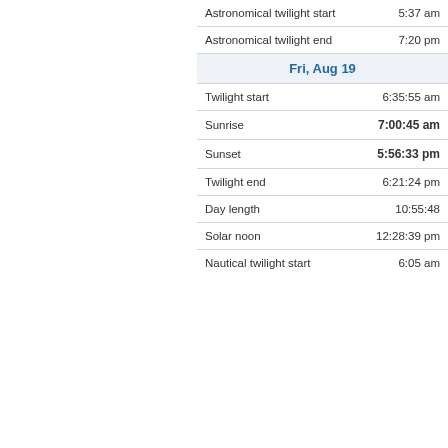| Event | Time |
| --- | --- |
| Astronomical twilight start | 5:37 am |
| Astronomical twilight end | 7:20 pm |
| Fri, Aug 19 |  |
| Twilight start | 6:35:55 am |
| Sunrise | 7:00:45 am |
| Sunset | 5:56:33 pm |
| Twilight end | 6:21:24 pm |
| Day length | 10:55:48 |
| Solar noon | 12:28:39 pm |
| Nautical twilight start | 6:05 am |